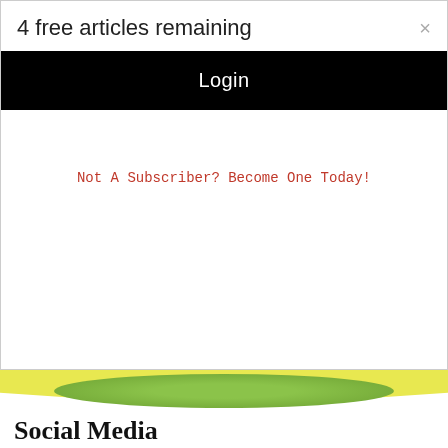4 free articles remaining
×
Login
Not A Subscriber? Become One Today!
[Figure (illustration): Decorative banner strip with yellow and green arch/wave design]
Social Media